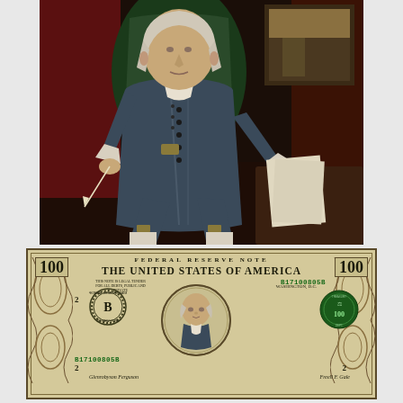[Figure (illustration): Full-body portrait painting of Benjamin Franklin seated in a green chair, wearing a blue colonial-era coat with buttons, white cuffs, and knee breeches. He holds a quill pen. Papers visible on a table to his right, and a window with a building scene in the upper right background.]
[Figure (photo): Front face of a United States $100 Federal Reserve Note. Serial number B17100805B, Federal Reserve district B, showing portrait of Benjamin Franklin in center oval, Federal Reserve seal on left, Treasury seal on right. Text reads FEDERAL RESERVE NOTE, THE UNITED STATES OF AMERICA, 100 on both sides, WASHINGTON D.C., 2 district number, serial numbers in green.]